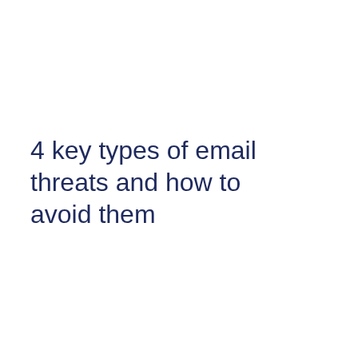4 key types of email threats and how to avoid them